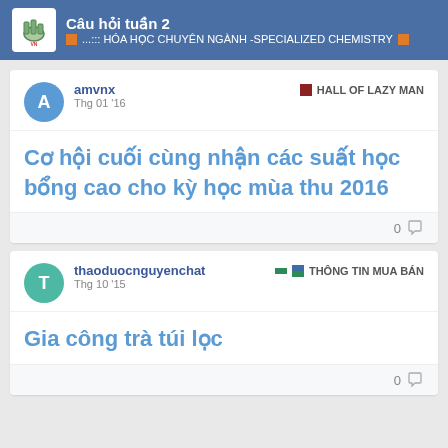Câu hỏi tuần 2 | ...::: HÓA HỌC CHUYÊN NGÀNH -SPECIALIZED CHEMISTRY
amvnx | Thg 01 '16 | HALL OF LAZY MAN
Cơ hội cuối cùng nhận các suất học bổng cao cho kỳ học mùa thu 2016
0
thaoduocnguyenchat | Thg 10 '15 | THÔNG TIN MUA BÁN
Gia công trà túi lọc
0